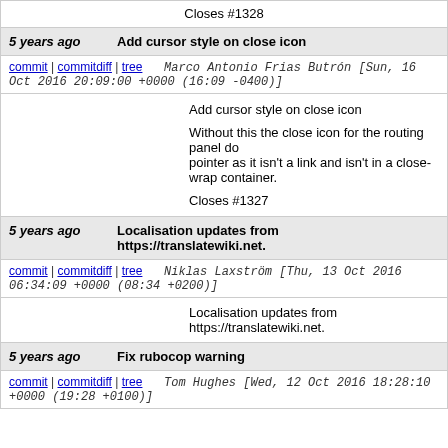Closes #1328
5 years ago   Add cursor style on close icon
commit | commitdiff | tree   Marco Antonio Frias Butrón [Sun, 16 Oct 2016 20:09:00 +0000 (16:09 -0400)]
Add cursor style on close icon

Without this the close icon for the routing panel do pointer as it isn't a link and isn't in a close-wrap container.

Closes #1327
5 years ago   Localisation updates from https://translatewiki.net.
commit | commitdiff | tree   Niklas Laxström [Thu, 13 Oct 2016 06:34:09 +0000 (08:34 +0200)]
Localisation updates from https://translatewiki.net.
5 years ago   Fix rubocop warning
commit | commitdiff | tree   Tom Hughes [Wed, 12 Oct 2016 18:28:10 +0000 (19:28 +0100)]